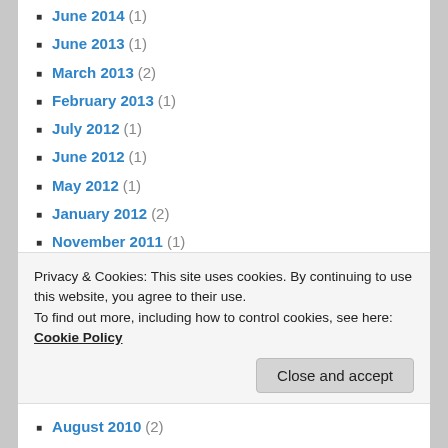June 2014 (1)
June 2013 (1)
March 2013 (2)
February 2013 (1)
July 2012 (1)
June 2012 (1)
May 2012 (1)
January 2012 (2)
November 2011 (1)
October 2011 (1)
September 2011 (2)
August 2011 (2)
July 2011 (2)
June 2011 (2)
April 2011 (2)
Privacy & Cookies: This site uses cookies. By continuing to use this website, you agree to their use. To find out more, including how to control cookies, see here: Cookie Policy
August 2010 (2)